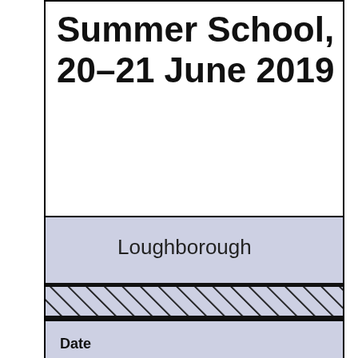Summer School, 20–21 June 2019
Loughborough
Date
9:00am, June 17 2019 until 5:00pm, June 21 2019
Location
Loughborough University,
Epinal Way,
Loughborough,
LE11 3TU